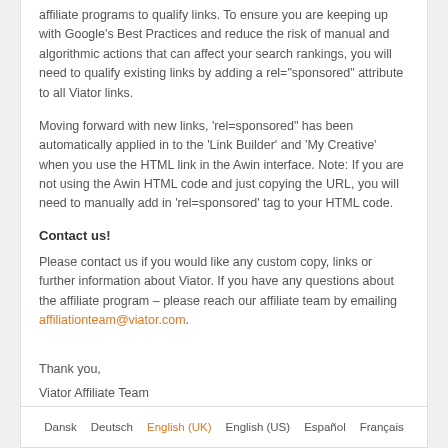affiliate programs to qualify links. To ensure you are keeping up with Google's Best Practices and reduce the risk of manual and algorithmic actions that can affect your search rankings, you will need to qualify existing links by adding a rel="sponsored" attribute to all Viator links.
Moving forward with new links, 'rel=sponsored" has been automatically applied in to the 'Link Builder' and 'My Creative' when you use the HTML link in the Awin interface. Note: If you are not using the Awin HTML code and just copying the URL, you will need to manually add in 'rel=sponsored' tag to your HTML code.
Contact us!
Please contact us if you would like any custom copy, links or further information about Viator. If you have any questions about the affiliate program – please reach our affiliate team by emailing affiliationteam@viator.com.
Thank you,
Viator Affiliate Team
Dansk   Deutsch   English (UK)   English (US)   Español   Français